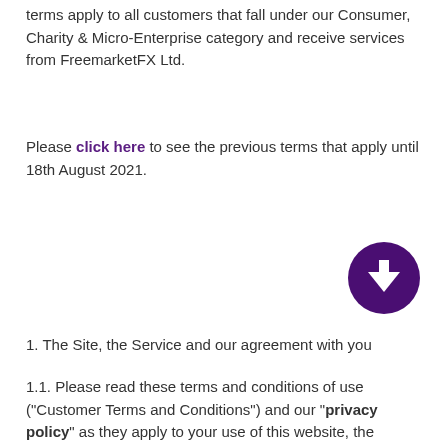terms apply to all customers that fall under our Consumer, Charity & Micro-Enterprise category and receive services from FreemarketFX Ltd.
Please click here to see the previous terms that apply until 18th August 2021.
[Figure (other): Purple circular button with white downward arrow icon]
1. The Site, the Service and our agreement with you
1.1. Please read these terms and conditions of use ("Customer Terms and Conditions") and our "privacy policy" as they apply to your use of this website, the